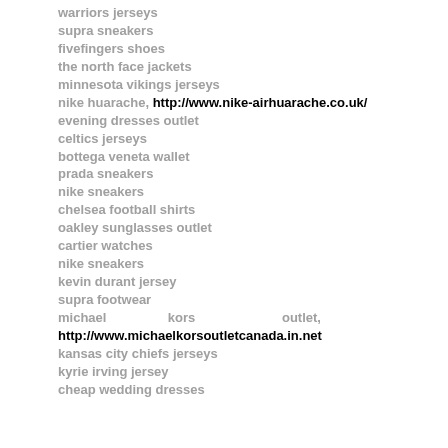warriors jerseys
supra sneakers
fivefingers shoes
the north face jackets
minnesota vikings jerseys
nike huarache, http://www.nike-airhuarache.co.uk/
evening dresses outlet
celtics jerseys
bottega veneta wallet
prada sneakers
nike sneakers
chelsea football shirts
oakley sunglasses outlet
cartier watches
nike sneakers
kevin durant jersey
supra footwear
michael kors outlet, http://www.michaelkorsoutletcanada.in.net
kansas city chiefs jerseys
kyrie irving jersey
cheap wedding dresses